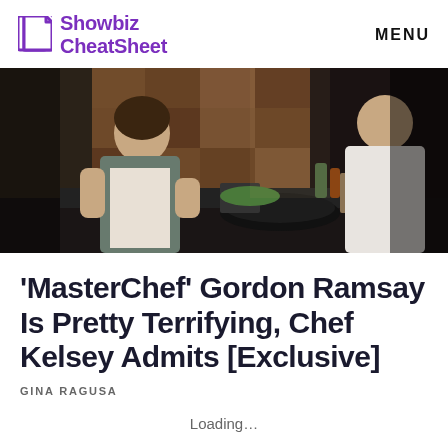Showbiz CheatSheet   MENU
[Figure (photo): A cooking scene showing two people in a kitchen setting; a woman in an apron cooking at a stovetop with pans, and another person in a white blouse standing nearby, with a decorative wooden tile backsplash behind them.]
‘MasterChef’ Gordon Ramsay Is Pretty Terrifying, Chef Kelsey Admits [Exclusive]
GINA RAGUSA
Loading…